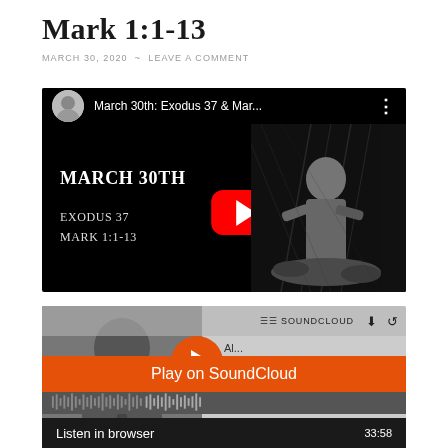Mark 1:1-13
MARCH 30, 2020 ~ LEAVE A COMMENT
[Figure (screenshot): YouTube video thumbnail for 'March 30th: Exodus 37 & Mar...' showing title text 'March 30th', 'Exodus 37', 'Mark 1:1-13' on black background with biblical engraving on right side and YouTube play button in center]
[Figure (screenshot): SoundCloud embedded player with a person's photo on the left, orange play button, SoundCloud logo top right, orange 'Play on SoundCloud' button overlay, and 'Listen in browser' text with time 33:58 at bottom]